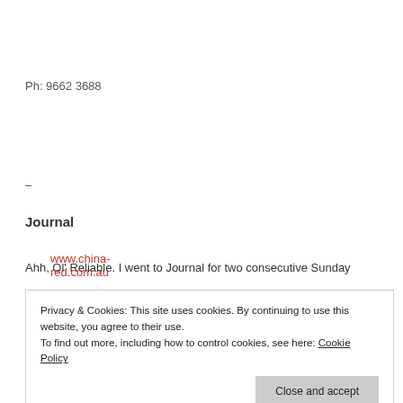Ph: 9662 3688
www.china-red.com.au
–
Journal
Ahh, Ol' Reliable. I went to Journal for two consecutive Sunday
Privacy & Cookies: This site uses cookies. By continuing to use this website, you agree to their use.
To find out more, including how to control cookies, see here: Cookie Policy
Close and accept
croissant served with the daily jam, which just happened to be